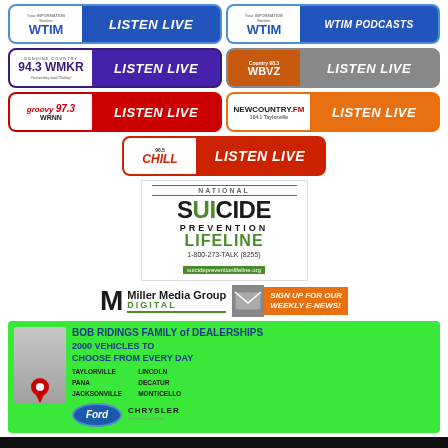[Figure (screenshot): WTIM Listen Live button - blue radio station banner]
[Figure (screenshot): WTIM Podcasts button - blue radio station banner]
[Figure (screenshot): 94.3 WMKR Listen Live button - purple radio station banner]
[Figure (screenshot): WBVZ Listen Live button - orange/gray radio station banner]
[Figure (screenshot): Groovy 97.3 WRNN Listen Live button - red radio station banner]
[Figure (screenshot): New Country FM 104.1 Taylorville Listen Live button - orange banner]
[Figure (screenshot): 96.5 Chill Listen Live button - red radio station banner centered]
[Figure (logo): National Suicide Prevention Lifeline logo - 1-800-273-TALK (8255) suicidepreventionlifeline.org]
[Figure (logo): Miller Media Group Digital logo with SIGN UP FOR OUR WEEKLY E-NEWS button]
[Figure (infographic): Bob Ridings Family of Dealerships advertisement - 2000 Vehicles to Choose From Every Day - Taylorville, Pana, Jacksonville, Lincoln, Decatur, Monticello - Ford and Chrysler logos]
[Figure (screenshot): Black navigation bar with red hamburger menu button]
[Figure (screenshot): Blue strip at bottom of page]